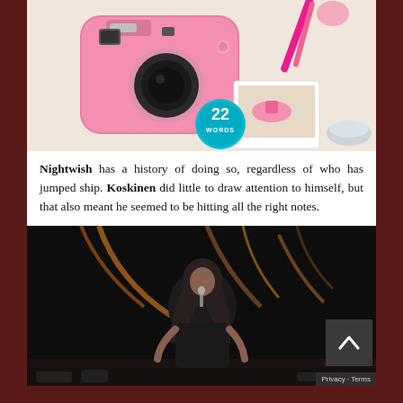[Figure (photo): Pink Fujifilm Instax mini camera on a white surface with a Polaroid photo of pink shoes, pink makeup brushes, and a small glass dish. A teal circular badge with '22 WORDS' is overlaid on the bottom-center of the image.]
Nightwish has a history of doing so, regardless of who has jumped ship. Koskinen did little to draw attention to himself, but that also meant he seemed to be hitting all the right notes.
[Figure (photo): Concert photo of a long-haired male performer on stage with dramatic stage lighting showing orange/golden light streaks in the background. A scroll-up arrow button and Privacy/Terms bar are overlaid in the bottom-right corner.]